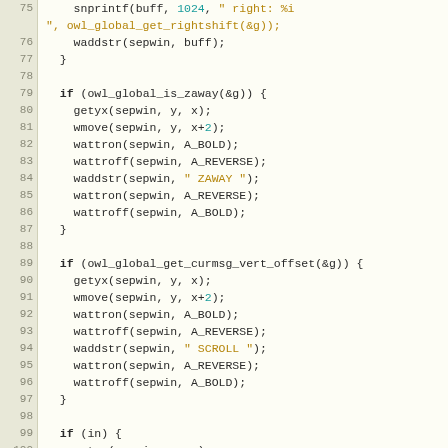[Figure (screenshot): Source code listing in C showing lines 75-105 of a file, with syntax highlighting. Line numbers in left gutter, code on right with keywords in bold, numeric literals in cyan, and string literals in orange/brown. Code shows ncurses-related C functions for an owl messaging client.]